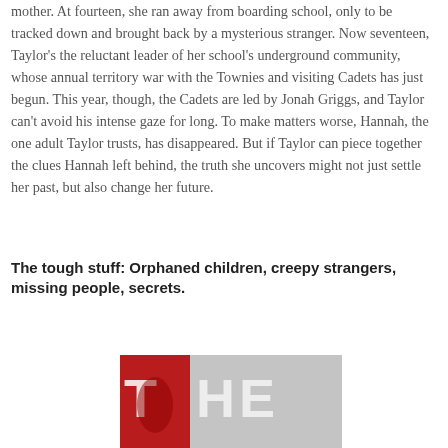mother. At fourteen, she ran away from boarding school, only to be tracked down and brought back by a mysterious stranger. Now seventeen, Taylor's the reluctant leader of her school's underground community, whose annual territory war with the Townies and visiting Cadets has just begun. This year, though, the Cadets are led by Jonah Griggs, and Taylor can't avoid his intense gaze for long. To make matters worse, Hannah, the one adult Taylor trusts, has disappeared. But if Taylor can piece together the clues Hannah left behind, the truth she uncovers might not just settle her past, but also change her future.
The tough stuff: Orphaned children, creepy strangers, missing people, secrets.
[Figure (photo): Partial book cover image showing 'THE' in large bold letters with a red and gray color scheme]